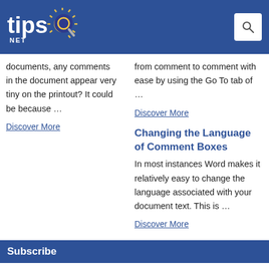tips.net
documents, any comments in the document appear very tiny on the printout? It could be because …
Discover More
from comment to comment with ease by using the Go To tab of …
Discover More
Changing the Language of Comment Boxes
In most instances Word makes it relatively easy to change the language associated with your document text. This is …
Discover More
Subscribe
FREE SERVICE: Get tips like this every week in WordTips,